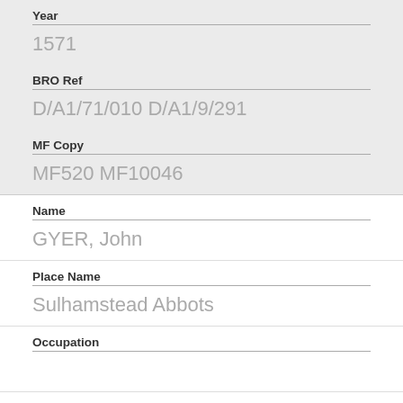Year
1571
BRO Ref
D/A1/71/010 D/A1/9/291
MF Copy
MF520 MF10046
Name
GYER, John
Place Name
Sulhamstead Abbots
Occupation
Year